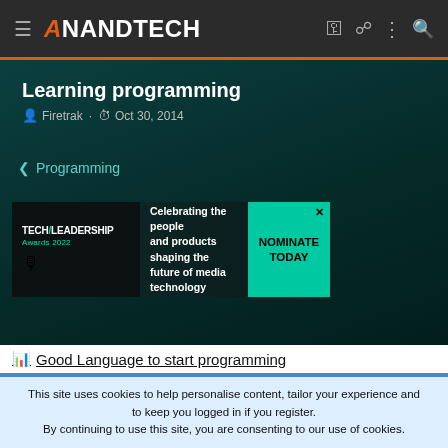AnandTech
Learning programming
Firetrak · Oct 30, 2014
< Programming
[Figure (screenshot): Tech Leadership Awards 2022 advertisement banner. Left: 'TECH/LEADERSHIP Awards 2022' logo. Middle: 'Celebrating the people and products shaping the future of media technology'. Right: teal button 'NOMINATE TODAY' with X close button.]
Good Language to start programming
This site uses cookies to help personalise content, tailor your experience and to keep you logged in if you register.
By continuing to use this site, you are consenting to our use of cookies.